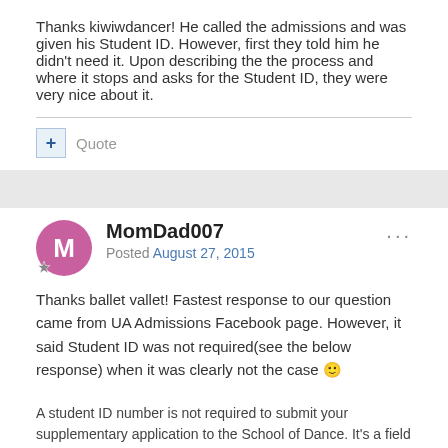Thanks kiwiwdancer! He called the admissions and was given his Student ID. However, first they told him he didn't need it. Upon describing the the process and where it stops and asks for the Student ID, they were very nice about it.
Quote
MomDad007
Posted August 27, 2015
Thanks ballet vallet! Fastest response to our question came from UA Admissions Facebook page. However, it said Student ID was not required(see the below response) when it was clearly not the case 🙂
A student ID number is not required to submit your supplementary application to the School of Dance. It's a field in the College Fine Arts application